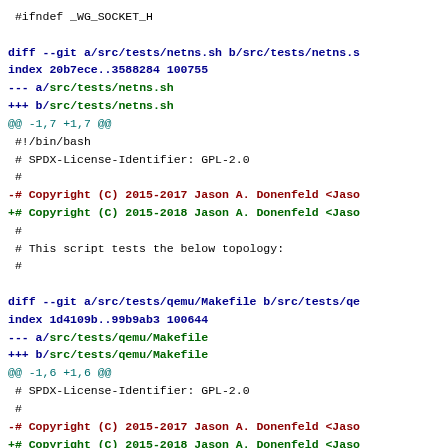#ifndef _WG_SOCKET_H

diff --git a/src/tests/netns.sh b/src/tests/netns.s
index 20b7ece..3588284 100755
--- a/src/tests/netns.sh
+++ b/src/tests/netns.sh
@@ -1,7 +1,7 @@
 #!/bin/bash
 # SPDX-License-Identifier: GPL-2.0
 #
-# Copyright (C) 2015-2017 Jason A. Donenfeld <Jaso
+# Copyright (C) 2015-2018 Jason A. Donenfeld <Jaso
 #
 # This script tests the below topology:
 #

diff --git a/src/tests/qemu/Makefile b/src/tests/qe
index 1d4109b..99b9ab3 100644
--- a/src/tests/qemu/Makefile
+++ b/src/tests/qemu/Makefile
@@ -1,6 +1,6 @@
 # SPDX-License-Identifier: GPL-2.0
 #
-# Copyright (C) 2015-2017 Jason A. Donenfeld <Jaso
+# Copyright (C) 2015-2018 Jason A. Donenfeld <Jaso